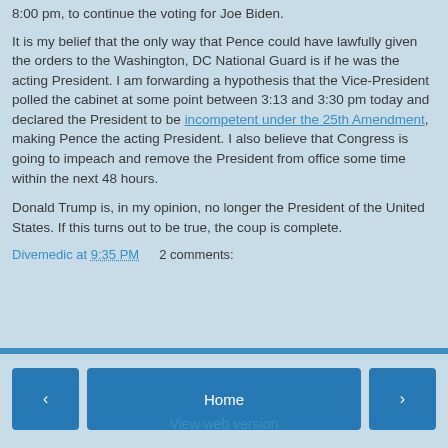8:00 pm, to continue the voting for Joe Biden.
It is my belief that the only way that Pence could have lawfully given the orders to the Washington, DC National Guard is if he was the acting President. I am forwarding a hypothesis that the Vice-President polled the cabinet at some point between 3:13 and 3:30 pm today and declared the President to be incompetent under the 25th Amendment, making Pence the acting President. I also believe that Congress is going to impeach and remove the President from office some time within the next 48 hours.
Donald Trump is, in my opinion, no longer the President of the United States. If this turns out to be true, the coup is complete.
Divemedic at 9:35 PM   2 comments:
[Figure (infographic): Navigation bar with left arrow button, Home button, and right arrow button, plus a View web version link below]